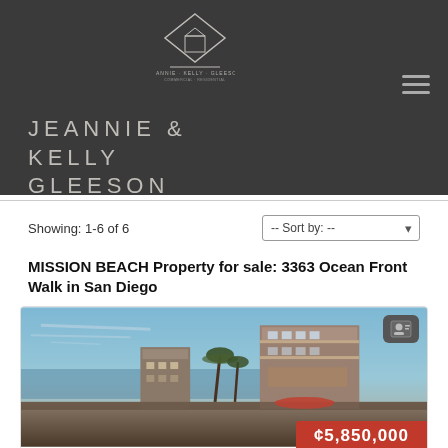[Figure (logo): Jeannie & Kelly Gleeson real estate agency logo — house/diamond shape with text]
JEANNIE &
KELLY
GLEESON
Showing: 1-6 of 6
-- Sort by: --
MISSION BEACH Property for sale: 3363 Ocean Front Walk in San Diego
[Figure (photo): Exterior photo of beachfront property at 3363 Ocean Front Walk, Mission Beach, San Diego — multi-story modern building with palm trees along the boardwalk]
¢5,850,000